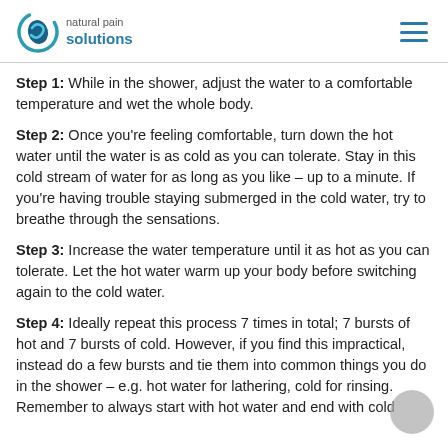natural pain solutions
Step 1: While in the shower, adjust the water to a comfortable temperature and wet the whole body.
Step 2: Once you’re feeling comfortable, turn down the hot water until the water is as cold as you can tolerate. Stay in this cold stream of water for as long as you like – up to a minute. If you’re having trouble staying submerged in the cold water, try to breathe through the sensations.
Step 3: Increase the water temperature until it as hot as you can tolerate. Let the hot water warm up your body before switching again to the cold water.
Step 4: Ideally repeat this process 7 times in total; 7 bursts of hot and 7 bursts of cold. However, if you find this impractical, instead do a few bursts and tie them into common things you do in the shower – e.g. hot water for lathering, cold for rinsing. Remember to always start with hot water and end with cold